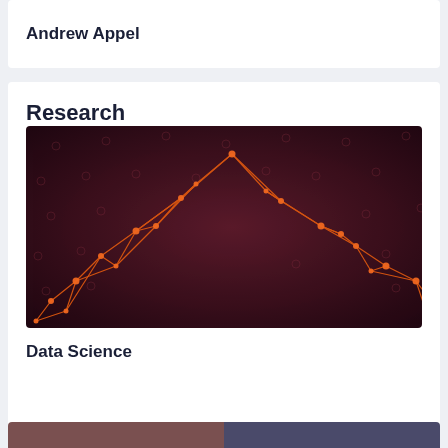Andrew Appel
Research
[Figure (illustration): Abstract network graph illustration with orange/red geometric lines and nodes forming a triangular mountain-like shape on a dark maroon background with subtle circular dot pattern]
Data Science